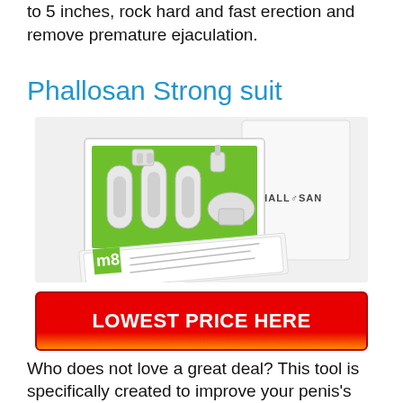to 5 inches, rock hard and fast erection and remove premature ejaculation.
Phallosan Strong suit
[Figure (photo): Product photo of Phallosan Forte kit showing box with devices and instruction booklet, plus branded white box with PHALLOSAN text]
LOWEST PRICE HERE
Who does not love a great deal? This tool is specifically created to improve your penis's